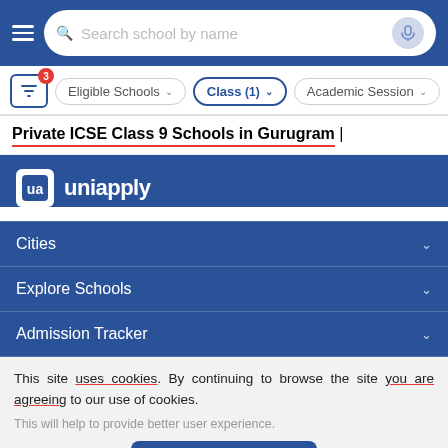Search school by name
Eligible Schools | Class (1) | Academic Session
Private ICSE Class 9 Schools in Gurugram
[Figure (logo): Uniapply logo - white square with stylized 'ua' monogram and 'uniapply' text in white on blue background]
Cities
Explore Schools
Admission Tracker
This site uses cookies. By continuing to browse the site you are agreeing to our use of cookies.
This will help to provide better user experience.
Ok, I Understand